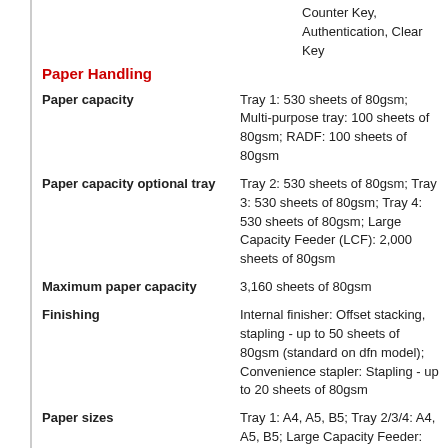Counter Key, Authentication, Clear Key
Paper Handling
| Feature | Description |
| --- | --- |
| Paper capacity | Tray 1: 530 sheets of 80gsm; Multi-purpose tray: 100 sheets of 80gsm; RADF: 100 sheets of 80gsm |
| Paper capacity optional tray | Tray 2: 530 sheets of 80gsm; Tray 3: 530 sheets of 80gsm; Tray 4: 530 sheets of 80gsm; Large Capacity Feeder (LCF): 2,000 sheets of 80gsm |
| Maximum paper capacity | 3,160 sheets of 80gsm |
| Finishing | Internal finisher: Offset stacking, stapling - up to 50 sheets of 80gsm (standard on dfn model); Convenience stapler: Stapling - up to 20 sheets of 80gsm |
| Paper sizes | Tray 1: A4, A5, B5; Tray 2/3/4: A4, A5, B5; Large Capacity Feeder: A4; Multi-purpose tray: A4, B5, A5, A6. Envelopes (Com-9, Com10, DL, C5), Labels (Avery 7162, 7664, 7666). Support Custom size: Width 64-216mm Length 127-1321mm; RADF: A4, A5, A6(simplex), B5; Duplex: A4, A5, B5; Supports custom size: Width |